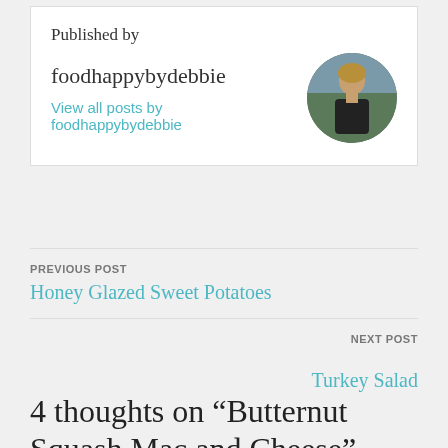Published by
foodhappybydebbie
View all posts by foodhappybydebbie
[Figure (photo): Circular avatar photo of a woman with blonde hair wearing a black top]
PREVIOUS POST
Honey Glazed Sweet Potatoes
NEXT POST
Turkey Salad
4 thoughts on “Butternut Squash Mac and Cheese”